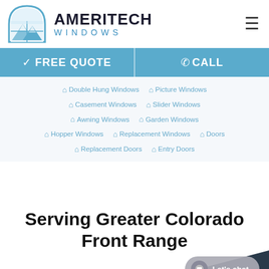[Figure (logo): Ameritech Windows logo with mountain/window icon and AMERITECH WINDOWS text]
✓ FREE QUOTE
☎ CALL
Double Hung Windows
Picture Windows
Casement Windows
Slider Windows
Awning Windows
Garden Windows
Hopper Windows
Replacement Windows
Doors
Replacement Doors
Entry Doors
Serving Greater Colorado Front Range